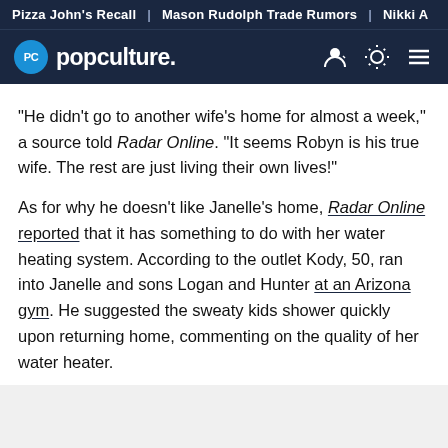Pizza John's Recall | Mason Rudolph Trade Rumors | Nikki A
popculture.
"He didn't go to another wife's home for almost a week," a source told Radar Online. "It seems Robyn is his true wife. The rest are just living their own lives!"
As for why he doesn't like Janelle's home, Radar Online reported that it has something to do with her water heating system. According to the outlet Kody, 50, ran into Janelle and sons Logan and Hunter at an Arizona gym. He suggested the sweaty kids shower quickly upon returning home, commenting on the quality of her water heater.